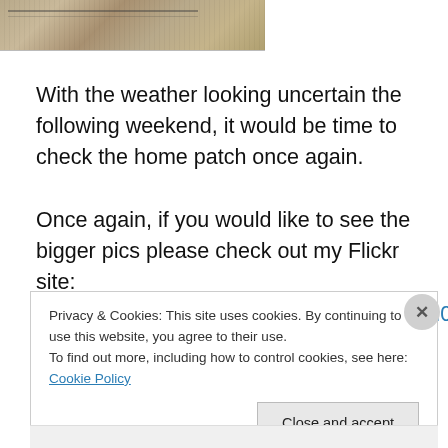[Figure (photo): Partial view of a photograph showing dry grass or field vegetation, cropped at top of page, approximately 265px wide and 50px tall.]
With the weather looking uncertain the following weekend, it would be time to check the home patch once again.
Once again, if you would like to see the bigger pics please check out my Flickr site: http://www.flickr.com/photos/94900571@N05/
Privacy & Cookies: This site uses cookies. By continuing to use this website, you agree to their use.
To find out more, including how to control cookies, see here: Cookie Policy
Close and accept